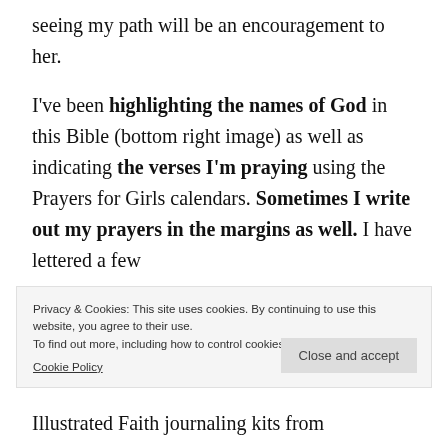seeing my path will be an encouragement to her.
I've been highlighting the names of God in this Bible (bottom right image) as well as indicating the verses I'm praying using the Prayers for Girls calendars. Sometimes I write out my prayers in the margins as well. I have lettered a few
Privacy & Cookies: This site uses cookies. By continuing to use this website, you agree to their use.
To find out more, including how to control cookies, see here: Cookie Policy
Close and accept
Illustrated Faith journaling kits from